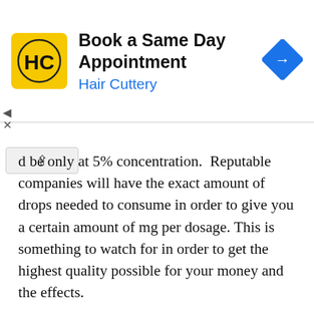[Figure (infographic): Hair Cuttery advertisement banner with yellow HC logo, text 'Book a Same Day Appointment' and 'Hair Cuttery', and a blue diamond direction arrow icon on the right]
d be only at 5% concentration.  Reputable companies will have the exact amount of drops needed to consume in order to give you a certain amount of mg per dosage. This is something to watch for in order to get the highest quality possible for your money and the effects.
How To Find A Reputable Manufacturer
Looking for a reputable manufacture can be difficult if you don’t know what to look for. First and foremost, you should pay attention to their reviews and the contents listed with the ingredients. Secondly the most reputable manufactures produce high quality CBD